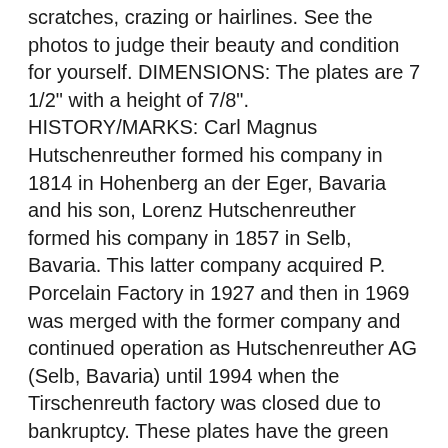scratches, crazing or hairlines. See the photos to judge their beauty and condition for yourself. DIMENSIONS: The plates are 7 1/2" with a height of 7/8". HISTORY/MARKS: Carl Magnus Hutschenreuther formed his company in 1814 in Hohenberg an der Eger, Bavaria and his son, Lorenz Hutschenreuther formed his company in 1857 in Selb, Bavaria. This latter company acquired P. Porcelain Factory in 1927 and then in 1969 was merged with the former company and continued operation as Hutschenreuther AG (Selb, Bavaria) until 1994 when the Tirschenreuth factory was closed due to bankruptcy. These plates have the green underglaze P. Bavaria (Porcelain Factory Tirschenreuth founded 1838 in Tirshenreuth, Bavaria) mark #755 in Robert E. Please view all pictures carefully as they are part of the description. The stand was used as a photo prop and is not part of this listing. See additional international policies below. This is ready to use or display with pride in your home. We strive to have satisfied customers. Please view each photo